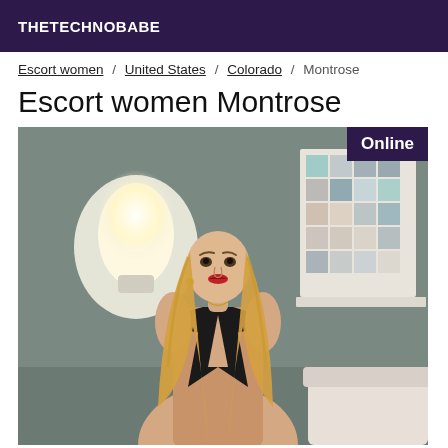THETECHNOBABE
Escort women / United States / Colorado / Montrose
Escort women Montrose
[Figure (photo): Blonde woman posing indoors in a black outfit, wall lamp and decorative art piece visible in background. Online badge in top-right corner.]